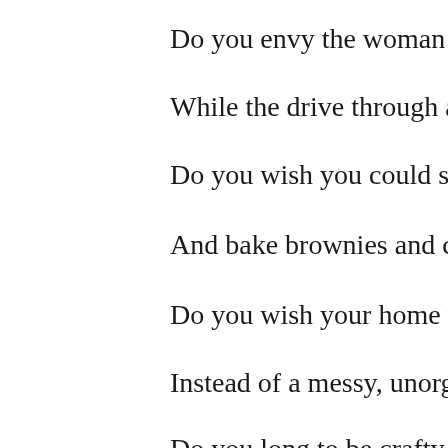Do you envy the woman who cooks a 5 co
While the drive through at McDonald's fo
Do you wish you could sew for your chilo
And bake brownies and cookies in the Ma
Do you wish your home was a tranquil kin
Instead of a messy, unorganized, chaotic c
Do you long to be crafty, and turn junk in
Or play the piano with grace, passion and